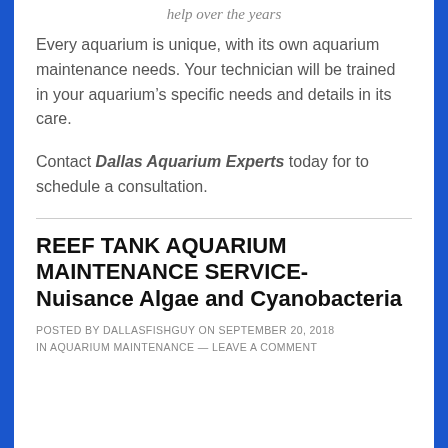help over the years
Every aquarium is unique, with its own aquarium maintenance needs. Your technician will be trained in your aquarium’s specific needs and details in its care.
Contact Dallas Aquarium Experts today for to schedule a consultation.
REEF TANK AQUARIUM MAINTENANCE SERVICE- Nuisance Algae and Cyanobacteria
POSTED BY DALLASFISHGUY ON SEPTEMBER 20, 2018 IN AQUARIUM MAINTENANCE — LEAVE A COMMENT